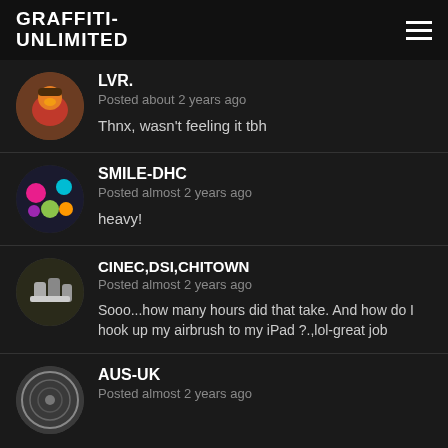GRAFFITI-UNLIMITED
LVR. | Posted about 2 years ago | Thnx, wasn't feeling it tbh
SMILE-DHC | Posted almost 2 years ago | heavy!
CINEC,DSI,CHITOWN | Posted almost 2 years ago | Sooo...how many hours did that take. And how do I hook up my airbrush to my iPad ?.,lol-great job
AUS-UK | Posted almost 2 years ago